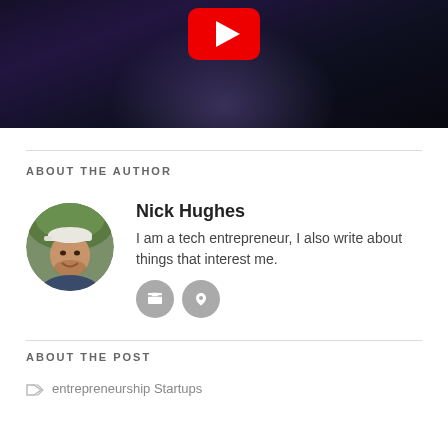[Figure (screenshot): YouTube video thumbnail showing a dark concert/performance scene with a YouTube play button (red rounded rectangle with white triangle) in the upper center area]
ABOUT THE AUTHOR
[Figure (photo): Circular profile photo of Nick Hughes, a man wearing a white cap, smiling, outdoors with trees in background]
Nick Hughes
I am a tech entrepreneur, I also write about things that interest me.
ABOUT THE POST
entrepreneurship  Startups